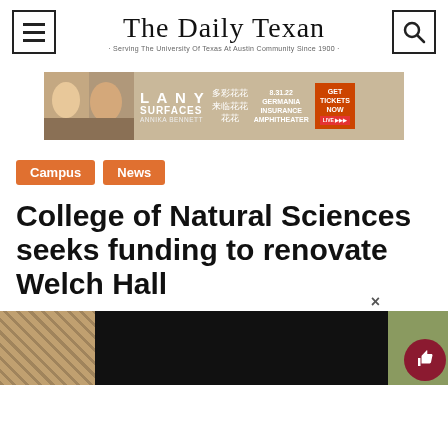The Daily Texan — Serving The University Of Texas At Austin Community Since 1900
[Figure (screenshot): Advertisement banner for LANY Surfaces concert featuring Annika Bennett, 8.31.22 Germania Insurance Amphitheater, Get Tickets Now]
Campus
News
College of Natural Sciences seeks funding to renovate Welch Hall
[Figure (photo): Article photo showing building exterior with brick and dark center section, partially cut off at bottom of page]